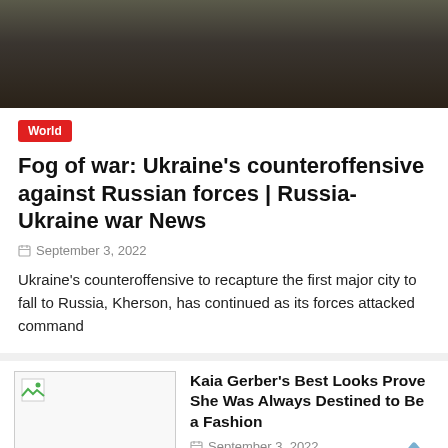[Figure (photo): Soldiers in military gear, dark background]
World
Fog of war: Ukraine's counteroffensive against Russian forces | Russia-Ukraine war News
September 3, 2022
Ukraine's counteroffensive to recapture the first major city to fall to Russia, Kherson, has continued as its forces attacked command
[Figure (photo): Thumbnail image (broken/loading)]
Kaia Gerber's Best Looks Prove She Was Always Destined to Be a Fashion
September 3, 2022
[Figure (photo): Bottom article photo, greenery/trees]